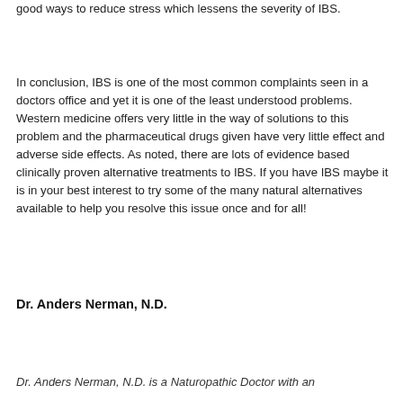good ways to reduce stress which lessens the severity of IBS.
In conclusion, IBS is one of the most common complaints seen in a doctors office and yet it is one of the least understood problems. Western medicine offers very little in the way of solutions to this problem and the pharmaceutical drugs given have very little effect and adverse side effects. As noted, there are lots of evidence based clinically proven alternative treatments to IBS. If you have IBS maybe it is in your best interest to try some of the many natural alternatives available to help you resolve this issue once and for all!
Dr. Anders Nerman, N.D.
Dr. Anders Nerman, N.D. is a Naturopathic Doctor with an